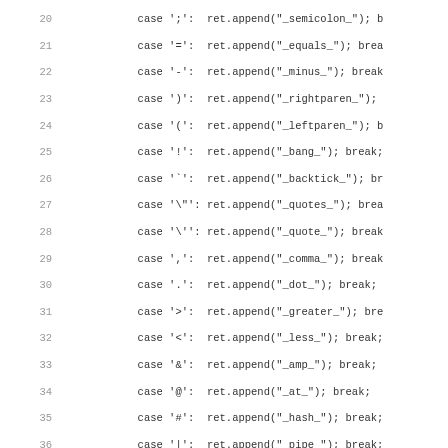Code listing lines 20-51: switch-case statements mapping special characters to string tokens using ret.append()